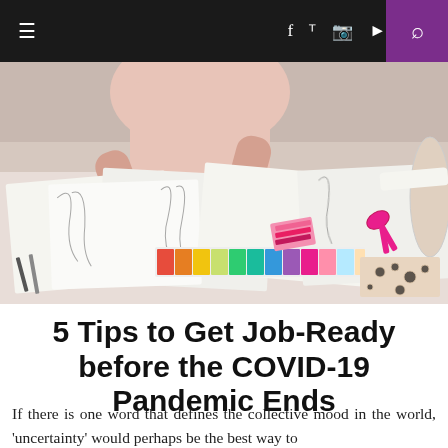≡  f  𝐭  📷  ▶  🔍
[Figure (photo): A person working at a desk covered with fashion design sketches, color swatches, fabric samples, and scissors — a creative workspace scene.]
5 Tips to Get Job-Ready before the COVID-19 Pandemic Ends
If there is one word that defines the collective mood in the world, 'uncertainty' would perhaps be the best way to